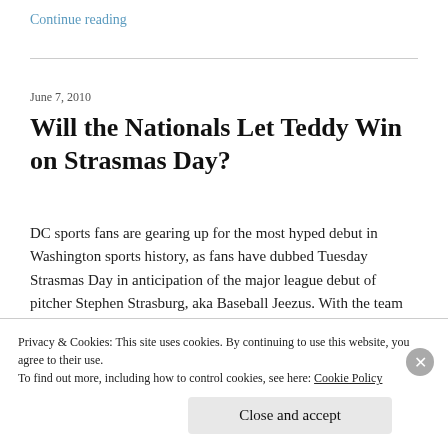Continue reading
June 7, 2010
Will the Nationals Let Teddy Win on Strasmas Day?
DC sports fans are gearing up for the most hyped debut in Washington sports history, as fans have dubbed Tuesday Strasmas Day in anticipation of the major league debut of pitcher Stephen Strasburg, aka Baseball Jeezus. With the team expected to choose hitting phenom Bryce Harper
Privacy & Cookies: This site uses cookies. By continuing to use this website, you agree to their use.
To find out more, including how to control cookies, see here: Cookie Policy